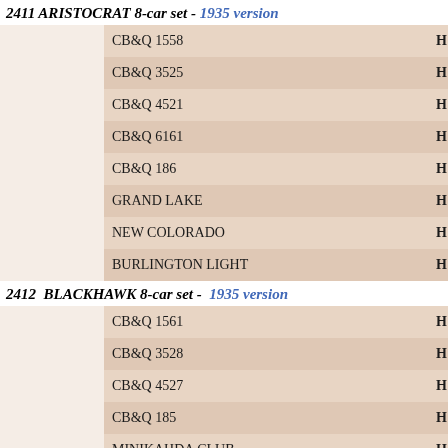2411 ARISTOCRAT 8-car set - 1935 version
|  | Name | H |
| --- | --- | --- |
|  | CB&Q 1558 | H |
|  | CB&Q 3525 | H |
|  | CB&Q 4521 | H |
|  | CB&Q 6161 | H |
|  | CB&Q 186 | H |
|  | GRAND LAKE | H |
|  | NEW COLORADO | H |
|  | BURLINGTON LIGHT | H |
2412  BLACKHAWK 8-car set -  1935 version
|  | Name | H |
| --- | --- | --- |
|  | CB&Q 1561 | H |
|  | CB&Q 3528 | H |
|  | CB&Q 4527 | H |
|  | CB&Q 185 | H |
|  | MINIKAHDA CLUB | H |
|  |  RICE LAKE | H |
|  | NEW HENNIPEN | H |
|  | MINNEAPOLIS CLUB | H |